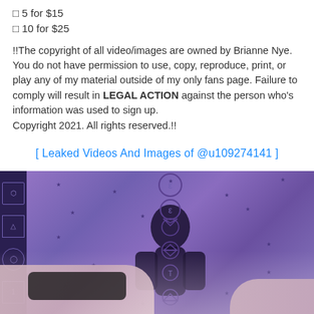□ 5 for $15
□ 10 for $25
!!The copyright of all video/images are owned by Brianne Nye. You do not have permission to use, copy, reproduce, print, or play any of my material outside of my only fans page. Failure to comply will result in LEGAL ACTION against the person who's information was used to sign up.
Copyright 2021. All rights reserved.!!
[ Leaked Videos And Images of @u109274141 ]
[Figure (photo): Photo of a person in front of a purple chakra tapestry with black chakra symbols, with a dark left border panel containing mystical symbols]